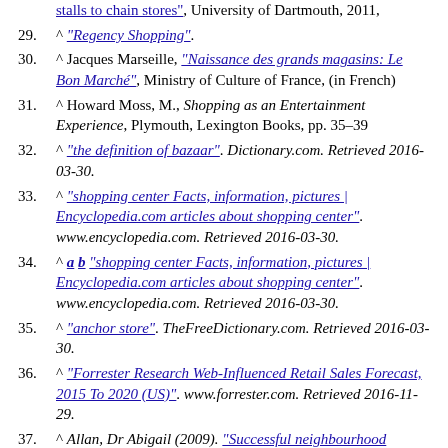(continuation) stalls to chain stores", University of Dartmouth, 2011,
29. ^ "Regency Shopping".
30. ^ Jacques Marseille, "Naissance des grands magasins: Le Bon Marché", Ministry of Culture of France, (in French)
31. ^ Howard Moss, M., Shopping as an Entertainment Experience, Plymouth, Lexington Books, pp. 35–39
32. ^ "the definition of bazaar". Dictionary.com. Retrieved 2016-03-30.
33. ^ "shopping center Facts, information, pictures | Encyclopedia.com articles about shopping center". www.encyclopedia.com. Retrieved 2016-03-30.
34. ^ a b "shopping center Facts, information, pictures | Encyclopedia.com articles about shopping center". www.encyclopedia.com. Retrieved 2016-03-30.
35. ^ "anchor store". TheFreeDictionary.com. Retrieved 2016-03-30.
36. ^ "Forrester Research Web-Influenced Retail Sales Forecast, 2015 To 2020 (US)". www.forrester.com. Retrieved 2016-11-29.
37. ^ Allan, Dr Abigail (2009). "Successful neighbourhood shopping centres" (PDF). Opus Central Laboratories.
38. ^ Kavilanz, Parija B. (2007-08-09). "Back-to-school sales' mixed grades". CNNMoney.com. CNN. Retrieved 2008-01-27.
39. ^ "Back-to-School Headquarters". National Retail